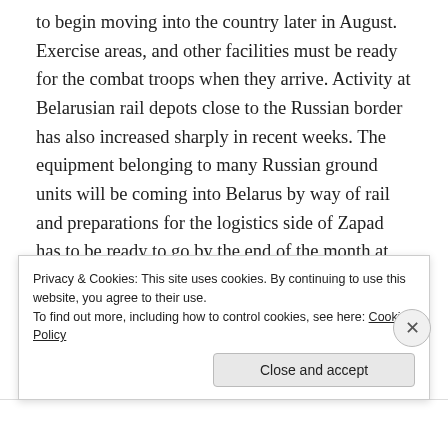to begin moving into the country later in August. Exercise areas, and other facilities must be ready for the combat troops when they arrive. Activity at Belarusian rail depots close to the Russian border has also increased sharply in recent weeks. The equipment belonging to many Russian ground units will be coming into Belarus by way of rail and preparations for the logistics side of Zapad has to be ready to go by the end of the month at the latest.
[Figure (screenshot): Partial screenshot of a webpage with a gradient banner image and an overlay with an 'Aa' badge icon and toolbar icons]
Privacy & Cookies: This site uses cookies. By continuing to use this website, you agree to their use.
To find out more, including how to control cookies, see here: Cookie Policy
Close and accept